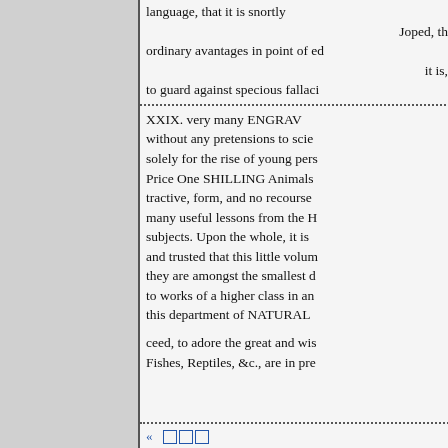language, that it is snortly
Joped, th
ordinary avantages in point of ed
it is,
to guard against specious fallaci
XXIX. very many ENGRAV without any pretensions to scie solely for the rise of young pers Price One SHILLING Animals tractive, form, and no recourse many useful lessons from the H subjects. Upon the whole, it is and trusted that this little volum they are amongst the smallest d to works of a higher class in an this department of NATURAL
ceed, to adore the great and wis Fishes, Reptiles, &c., are in pre
« □□□